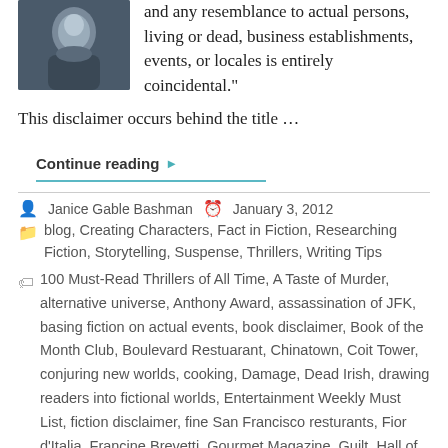[Figure (photo): Portrait photo of a person (Janice Gable Bashman) in dark clothing]
and any resemblance to actual persons, living or dead, business establishments, events, or locales is entirely coincidental."
This disclaimer occurs behind the title …
Continue reading ▶
Janice Gable Bashman   January 3, 2012
blog, Creating Characters, Fact in Fiction, Researching Fiction, Storytelling, Suspense, Thrillers, Writing Tips
100 Must-Read Thrillers of All Time, A Taste of Murder, alternative universe, Anthony Award, assassination of JFK, basing fiction on actual events, book disclaimer, Book of the Month Club, Boulevard Restuarant, Chinatown, Coit Tower, conjuring new worlds, cooking, Damage, Dead Irish, drawing readers into fictional worlds, Entertainment Weekly Must List, fiction disclaimer, fine San Francisco resturants, Fior d'Italia, Francine Brevetti, Gourmet Magazine, Guilt, Hall of Justice, Hard Evidence, historical fiction, how much can you borrow from real life for fiction, hunt for true